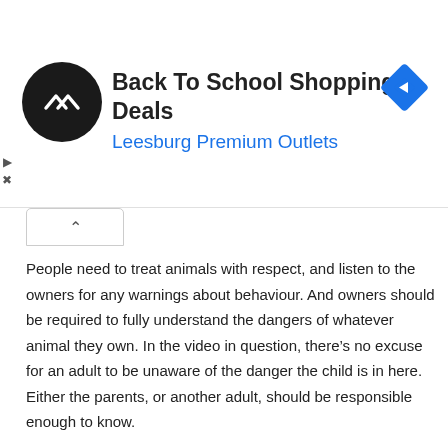[Figure (infographic): Advertisement banner for Back To School Shopping Deals at Leesburg Premium Outlets, with a circular black logo with arrows, and a blue navigation diamond icon on the right.]
People need to treat animals with respect, and listen to the owners for any warnings about behaviour. And owners should be required to fully understand the dangers of whatever animal they own. In the video in question, there's no excuse for an adult to be unaware of the danger the child is in here. Either the parents, or another adult, should be responsible enough to know.
LINK
NostalgicGal
January 11, 2016, 5:00 pm
I hate the 'cartooning' and the 'disneyification' of animals to show them